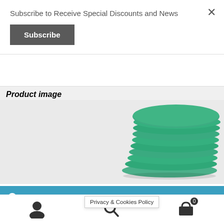Subscribe to Receive Special Discounts and News
Subscribe
Product image
[Figure (photo): Stack of green round discs/pads arranged in a fan pattern against a light background]
This web site uses cookies. All purchases subject to Azuradisc inc's Terms & Conditions of Sale.
Dismiss
Privacy & Cookies Policy